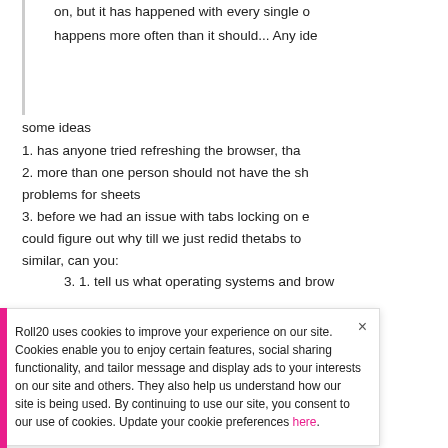on, but it has happened with every single o... happens more often than it should... Any ide
some ideas
1. has anyone tried refreshing the browser, tha...
2. more than one person should not have the sh... problems for sheets
3. before we had an issue with tabs locking on ... could figure out why till we just redid thetabs to... similar, can you:
3. 1. tell us what operating systems and bro...
Roll20 uses cookies to improve your experience on our site. Cookies enable you to enjoy certain features, social sharing functionality, and tailor message and display ads to your interests on our site and others. They also help us understand how our site is being used. By continuing to use our site, you consent to our use of cookies. Update your cookie preferences here.
if that is it, then the solution for the tabs was to...